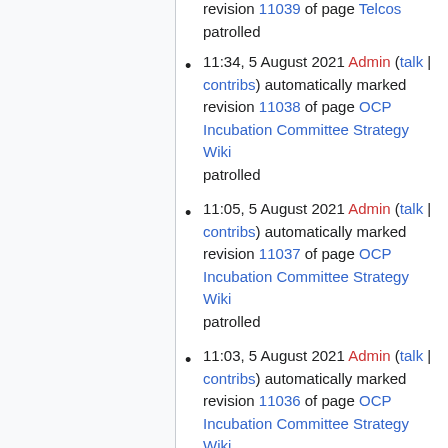revision 11039 of page Telcos patrolled
11:34, 5 August 2021 Admin (talk | contribs) automatically marked revision 11038 of page OCP Incubation Committee Strategy Wiki patrolled
11:05, 5 August 2021 Admin (talk | contribs) automatically marked revision 11037 of page OCP Incubation Committee Strategy Wiki patrolled
11:03, 5 August 2021 Admin (talk | contribs) automatically marked revision 11036 of page OCP Incubation Committee Strategy Wiki patrolled
16:32, 4 August 2021 Mschill (talk | contribs) automatically marked revision 11035 of page Data Center